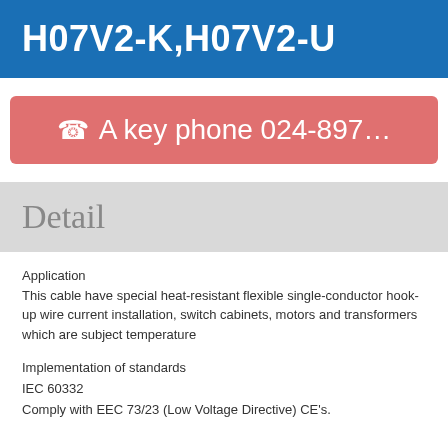H07V2-K,H07V2-U
☎ A key phone 024-897…
Detail
Application
This cable have special heat-resistant flexible single-conductor hook-up wire current installation, switch cabinets, motors and transformers which are subject temperature
Implementation of standards
IEC 60332
Comply with EEC 73/23 (Low Voltage Directive) CE's.